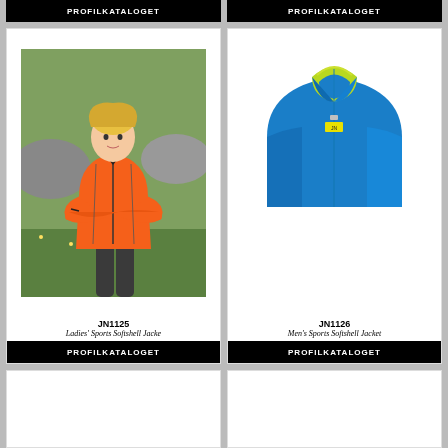PROFILKATALOGET
PROFILKATALOGET
[Figure (photo): Woman in orange sports softshell jacket with crossed arms, outdoor mountain background]
JN1125
Ladies' Sports Softshell Jacke
PROFILKATALOGET
[Figure (photo): Men's blue and yellow sports softshell jacket, collar detail shown]
JN1126
Men's Sports Softshell Jacket
PROFILKATALOGET
[Figure (photo): Empty card placeholder, bottom of page left]
[Figure (photo): Empty card placeholder, bottom of page right]